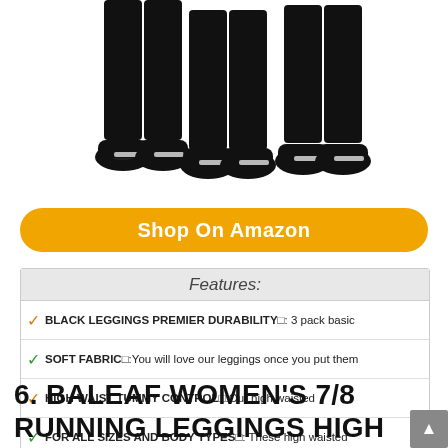[Figure (photo): Three women wearing black leggings and sneakers, showing lower bodies from waist down, standing side by side]
Shop On Amazon
| Features: |
| --- |
| ✓ BLACK LEGGINGS PREMIER DURABILITY□: 3 pack basic |
| ✓ SOFT FABRIC□:You will love our leggings once you put them |
| ✓ HIGH WAIST TUMMY CONTROL□:Our high waisted |
| ✓ FOR ALL SIZES AND BODY TYPES□: These high waisted |
| ✓ WORLD-CLASS CUSTOMER SERVICE □:Your satisfaction is |
6. BALEAF WOMEN'S 7/8 RUNNING LEGGINGS HIGH WAISTED WORKOUT YOGA HIKING LEGGINGS WITH ZIPPER POCKET